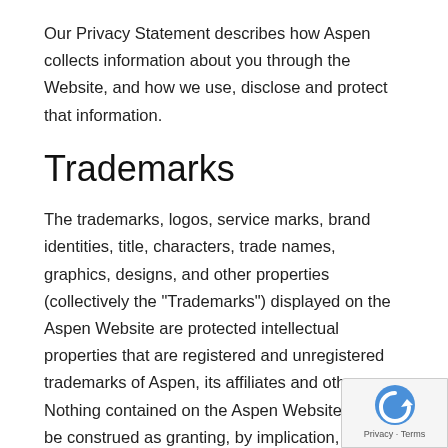Our Privacy Statement describes how Aspen collects information about you through the Website, and how we use, disclose and protect that information.
Trademarks
The trademarks, logos, service marks, brand identities, title, characters, trade names, graphics, designs, and other properties (collectively the "Trademarks") displayed on the Aspen Website are protected intellectual properties that are registered and unregistered trademarks of Aspen, its affiliates and others. Nothing contained on the Aspen Website should be construed as granting, by implication, or otherwise, any license or right to use any Trademark displayed on this Website without the written perm of Aspen or such third party that may own the Trade displayed on Aspen's Website. Your misuse of the